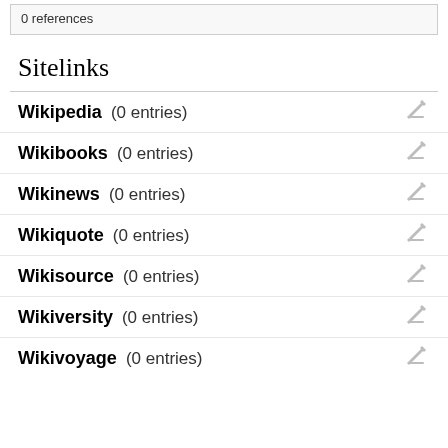0 references
Sitelinks
Wikipedia (0 entries)
Wikibooks (0 entries)
Wikinews (0 entries)
Wikiquote (0 entries)
Wikisource (0 entries)
Wikiversity (0 entries)
Wikivoyage (0 entries)